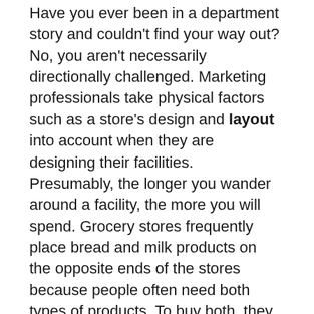Have you ever been in a department story and couldn't find your way out? No, you aren't necessarily directionally challenged. Marketing professionals take physical factors such as a store's design and layout into account when they are designing their facilities. Presumably, the longer you wander around a facility, the more you will spend. Grocery stores frequently place bread and milk products on the opposite ends of the stores because people often need both types of products. To buy both, they have to walk around an entire store, which of course, is loaded with other items they might see and purchase.
Think about the last time you went into a grocery store or drug store; you might not have noticed anything until you were well inside the store, which means that the merchandise and signs that were displayed in the area before you got your bearings were virtually invisible to you (Underhill, 1999).